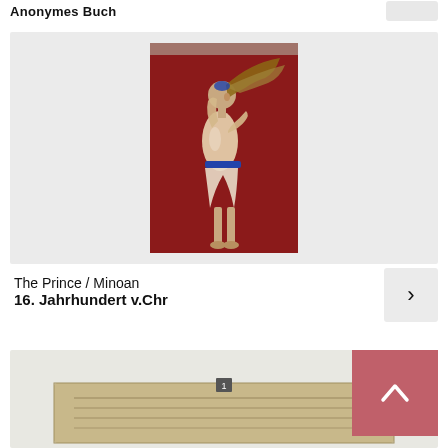Anonymes Buch
[Figure (photo): Minoan fresco painting of the Prince of the Lilies — a young man with dark hair, blue headdress with feathers, wearing a loincloth, depicted in profile walking on a red background]
The Prince / Minoan
16. Jahrhundert v.Chr
[Figure (photo): Partially visible image at bottom of page, appears to be an ancient document or stone tablet with text]